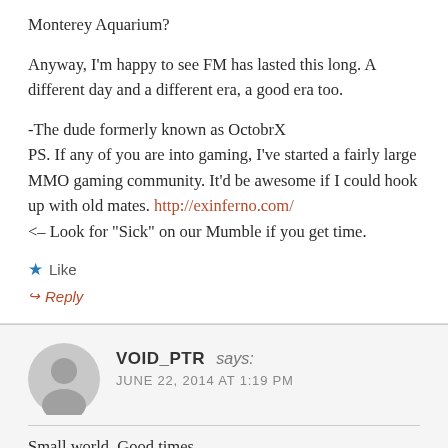Monterey Aquarium?
Anyway, I'm happy to see FM has lasted this long. A different day and a different era, a good era too.
-The dude formerly known as OctobrX
PS. If any of you are into gaming, I've started a fairly large MMO gaming community. It'd be awesome if I could hook up with old mates. http://exinferno.com/ <– Look for "Sick" on our Mumble if you get time.
★ Like
↪ Reply
VOID_PTR says:
JUNE 22, 2014 AT 1:19 PM
Small world. Good times.